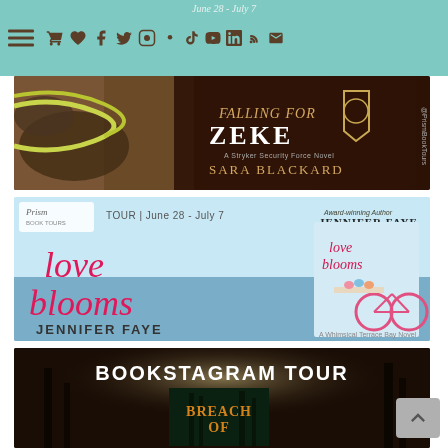Navigation bar with hamburger menu, shopping cart, wishlist, book, Facebook, Twitter, Instagram, Pinterest, Tumblr, YouTube, LinkedIn, RSS, email icons. Tour date: June 28 - July 7
[Figure (photo): Book tour banner for 'Falling for Zeke' by Sara Blackard - A Stryker Security Force Novel. Dark brown/wood background with knitted items and rope. White and gold text on dark overlay. Prism Book Tours watermark on right side.]
[Figure (photo): Book tour banner for 'Love Blooms' by Jennifer Faye. Light blue sky/ocean background. Pink cursive 'love blooms' title text. Prism Book Tours logo top left. Tour dates: June 28 - July 7. Book cover shown on right featuring pink bicycle.]
[Figure (photo): Bookstagram Tour banner. Dark forest/moody background. White bold text 'BOOKSTAGRAM TOUR'. Book cover for 'Breach Of' (title partially visible) shown at bottom center with orange stylized text on dark background.]